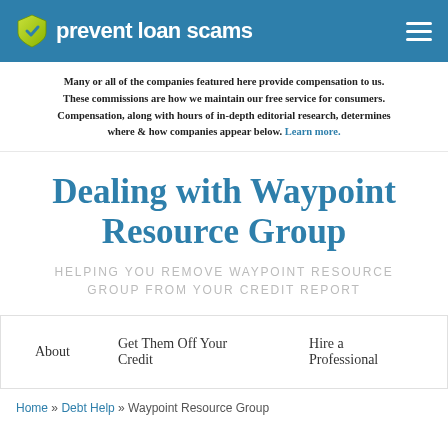prevent loan scams
Many or all of the companies featured here provide compensation to us. These commissions are how we maintain our free service for consumers. Compensation, along with hours of in-depth editorial research, determines where & how companies appear below. Learn more.
Dealing with Waypoint Resource Group
HELPING YOU REMOVE WAYPOINT RESOURCE GROUP FROM YOUR CREDIT REPORT
About   Get Them Off Your Credit   Hire a Professional
Home » Debt Help » Waypoint Resource Group